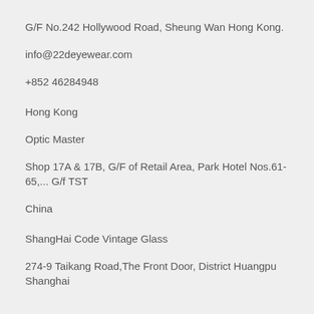G/F No.242 Hollywood Road, Sheung Wan Hong Kong.
info@22deyewear.com
+852 46284948
Hong Kong
Optic Master
Shop 17A & 17B, G/F of Retail Area, Park Hotel Nos.61-65,... G/f TST
China
ShangHai Code Vintage Glass
274-9 Taikang Road,The Front Door, District Huangpu Shanghai